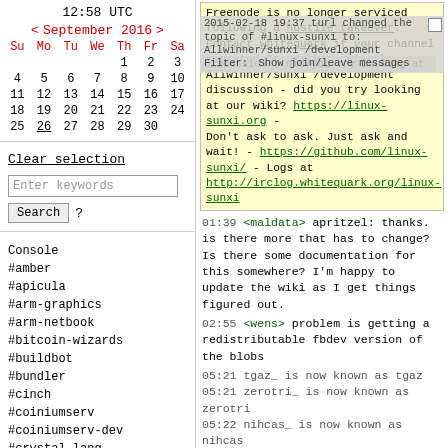12:58 UTC
< September 2016 >
| Su | Mo | Tu | We | Th | Fr | Sa |
| --- | --- | --- | --- | --- | --- | --- |
|  |  |  |  | 1 | 2 | 3 |
| 4 | 5 | 6 | 7 | 8 | 9 | 10 |
| 11 | 12 | 13 | 14 | 15 | 16 | 17 |
| 18 | 19 | 20 | 21 | 22 | 23 | 24 |
| 25 | 26 | 27 | 28 | 29 | 30 |  |
Clear selection
Enter keywords
Search  ?
Console
#amber
#apicula
#arm-graphics
#arm-netbook
#bitcoin-wizards
#buildbot
#bundler
#cinch
#coiniumserv
#coiniumserv-dev
#crystal-lang
Freenode is no longer serviced following a hostile takeover. Contact whitequark if your channel migrated to another network. Allwinner/sunxi /development discussion - did you try looking at our wiki? https://linux-sunxi.org - Don't ask to ask. Just ask and wait! - https://github.com/linux-sunxi/ - Logs at http://irclog.whitequark.org/linux-sunxi
2015-02-18 19:37 turl changed the topic of #linux-sunxi to: Allwinner/sunxi /development discussion ... Filter: Show join/leave messages
01:39 <maldata> apritzel: thanks. is there more that has to change? Is there some documentation for this somewhere? I'm happy to update the wiki as I get things figured out.
02:55 <wens> problem is getting a redistributable fbdev version of the blobs
05:21 tgaz_ is now known as tgaz
05:21 zerotri_ is now known as zerotri
05:22 nihcas_ is now known as nihcas
05:23 lvrp16_ is now known as lvrp16
05:33 steev__ is now known as steev_
07:02 NiteHawk` is now known as